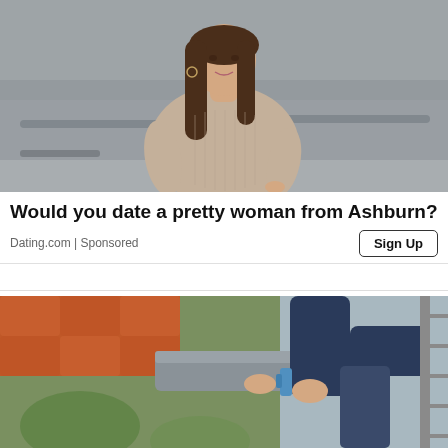[Figure (photo): Young woman with long brown hair wearing a beige ribbed knit sweater, standing outdoors near metal railings with a blurred urban background.]
Would you date a pretty woman from Ashburn?
Dating.com | Sponsored
[Figure (photo): Person cleaning or working on a home gutter/downspout near an orange-tiled roof, using a tool, with a ladder visible and greenery in background.]